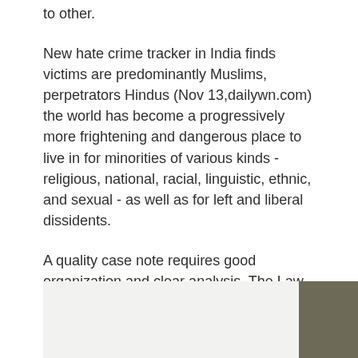to other.
New hate crime tracker in India finds victims are predominantly Muslims, perpetrators Hindus (Nov 13,dailywn.com) the world has become a progressively more frightening and dangerous place to live in for minorities of various kinds - religious, national, racial, linguistic, ethnic, and sexual - as well as for left and liberal dissidents.
A quality case note requires good organization and clear analysis. The Law Review Staff believes one lends itself to the other. Generally, a case note is divided into topical sections. The following organization is a flexible guideline. You may wish to Write-on General Info Author.
[Figure (other): Partial image visible at bottom of page with a dark olive/brown rectangular section on the right side]